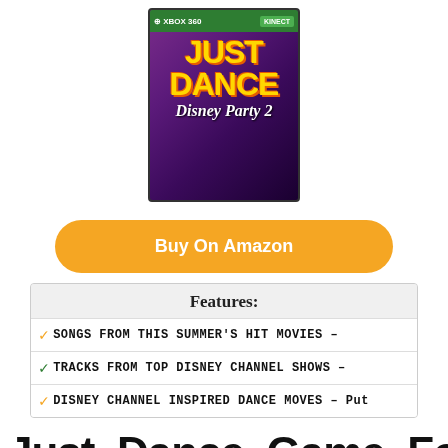[Figure (photo): Just Dance Disney Party 2 Xbox 360 Kinect game box cover art]
Buy On Amazon
Features:
SONGS FROM THIS SUMMER'S HIT MOVIES –
TRACKS FROM TOP DISNEY CHANNEL SHOWS –
DISNEY CHANNEL INSPIRED DANCE MOVES – Put
Just Dance Game For Xbox Buying Guide